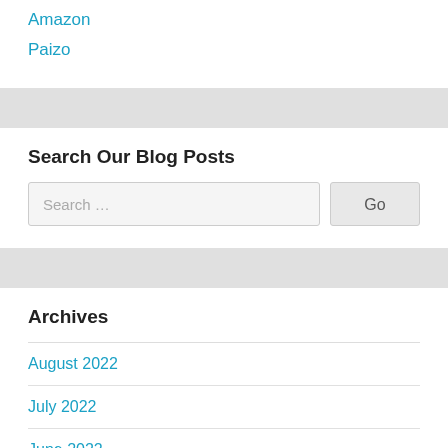Amazon
Paizo
Search Our Blog Posts
Search …
Archives
August 2022
July 2022
June 2022
May 2022
April 2022
March 2022